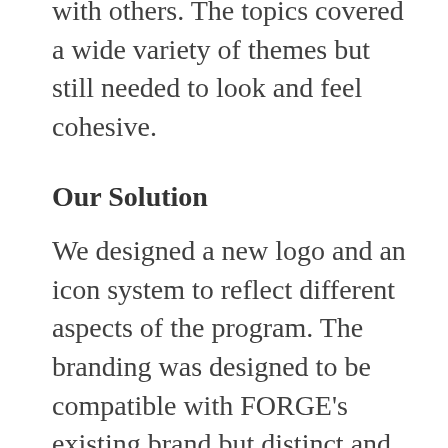with others. The topics covered a wide variety of themes but still needed to look and feel cohesive.
Our Solution
We designed a new logo and an icon system to reflect different aspects of the program. The branding was designed to be compatible with FORGE's existing brand but distinct and able to stand on its own. Each week over 28 weeks in 2020, we provided 3-6 content foraintaining ent